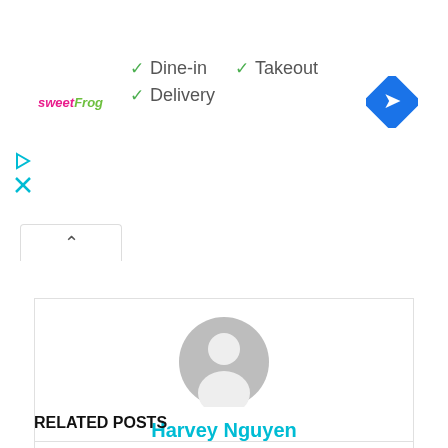[Figure (logo): sweetFrog logo in pink and green italic text]
✓ Dine-in  ✓ Takeout
✓ Delivery
[Figure (illustration): Blue diamond navigation icon with white right-turn arrow]
[Figure (illustration): Small play/close icons on left sidebar]
[Figure (illustration): Gray default user avatar profile image]
Harvey Nguyen
[Figure (illustration): Small globe icon]
RELATED POSTS